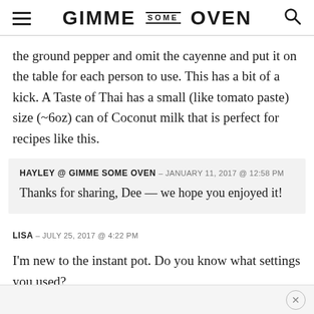GIMME SOME OVEN
the ground pepper and omit the cayenne and put it on the table for each person to use. This has a bit of a kick. A Taste of Thai has a small (like tomato paste) size (~6oz) can of Coconut milk that is perfect for recipes like this.
HAYLEY @ GIMME SOME OVEN – JANUARY 11, 2017 @ 12:58 PM
Thanks for sharing, Dee — we hope you enjoyed it!
LISA – JULY 25, 2017 @ 4:22 PM
I'm new to the instant pot. Do you know what settings you used?